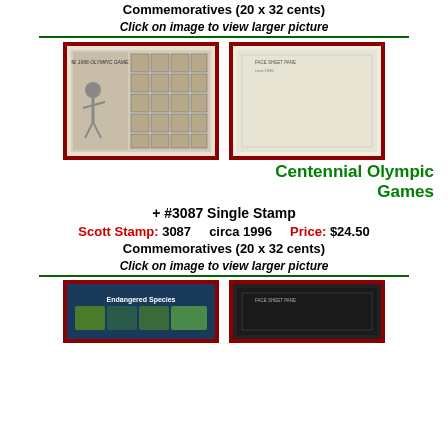Commemoratives (20 x 32 cents)
Click on image to view larger picture
[Figure (photo): Front of stamp sheet showing Centennial Olympic Games stamp with discus thrower figure, sheet of 20 stamps]
[Figure (photo): Back of stamp sheet, blank/reverse side]
Centennial Olympic Games
+ #3087 Single Stamp
Scott Stamp: 3087    circa 1996    Price: $24.50
Commemoratives (20 x 32 cents)
Click on image to view larger picture
[Figure (photo): Front of Endangered Species stamp sheet]
[Figure (photo): Back of Endangered Species stamp sheet]